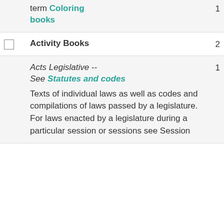term Coloring books
Activity Books  2
Acts Legislative -- See Statutes and codes
Texts of individual laws as well as codes and compilations of laws passed by a legislature. For laws enacted by a legislature during a particular session or sessions see Session
1